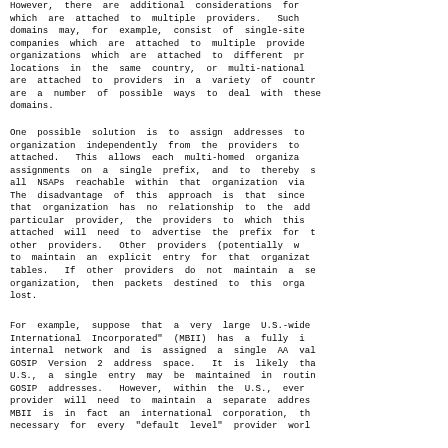However, there are additional considerations for domains which are attached to multiple providers.  Such domains may, for example, consist of single-site companies which are attached to multiple provider organizations which are attached to different provider locations in the same country, or multi-national organizations are attached to providers in a variety of countries.  There are a number of possible ways to deal with these multi-homed domains.
One possible solution is to assign addresses to the organization independently from the providers to which it is attached.  This allows each multi-homed organization to base assignments on a single prefix, and to thereby summarize all NSAPs reachable within that organization via a single prefix. The disadvantage of this approach is that since the prefix for that organization has no relationship to the address space of any particular provider, the providers to which this organization is attached will need to advertise the prefix for this organization to other providers.  Other providers (potentially worldwide) will need to maintain an explicit entry for that organization in their routing tables.  If other providers do not maintain a separate entry for this organization, then packets destined to this organization will be lost.
For example, suppose that a very large U.S.-wide company called "Multi-homed International Incorporated" (MBII) has a fully interconnected internal network and is assigned a single AA value in the U.S. GOSIP Version 2 address space.  It is likely that outside the U.S., a single entry may be maintained in routing tables for all U.S. GOSIP addresses.  However, within the U.S., every "default level" provider will need to maintain a separate address entry for MBII.  If MBII is in fact an international corporation, then it will be necessary for every "default level" provider worldwide to maintain an